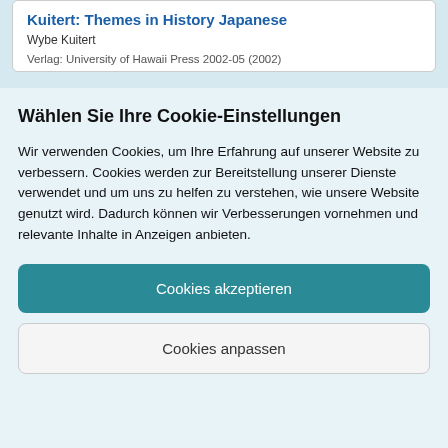Kuitert: Themes in History Japanese
Wybe Kuitert
Verlag: University of Hawaii Press 2002-05 (2002)
Wählen Sie Ihre Cookie-Einstellungen
Wir verwenden Cookies, um Ihre Erfahrung auf unserer Website zu verbessern. Cookies werden zur Bereitstellung unserer Dienste verwendet und um uns zu helfen zu verstehen, wie unsere Website genutzt wird. Dadurch können wir Verbesserungen vornehmen und relevante Inhalte in Anzeigen anbieten.
Cookies akzeptieren
Cookies anpassen